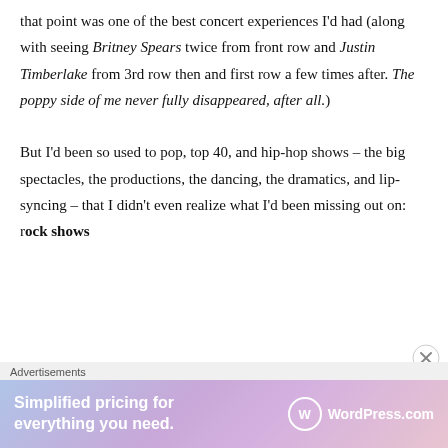that point was one of the best concert experiences I'd had (along with seeing Britney Spears twice from front row and Justin Timberlake from 3rd row then and first row a few times after. The poppy side of me never fully disappeared, after all.)

But I'd been so used to pop, top 40, and hip-hop shows – the big spectacles, the productions, the dancing, the dramatics, and lip-syncing – that I didn't even realize what I'd been missing out on: rock shows
Advertisements
[Figure (other): WordPress.com advertisement banner with gradient background (blue to pink/purple). Text reads 'Simplified pricing for everything you need.' with WordPress.com logo on the right.]